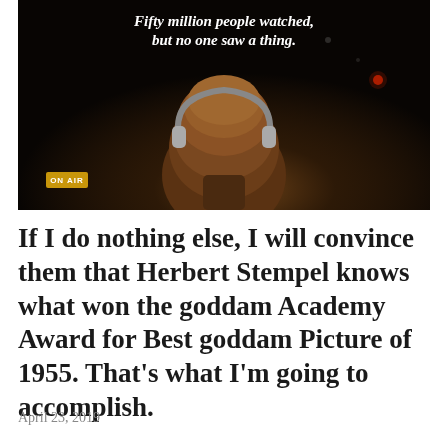[Figure (photo): Dark atmospheric photo of the back of a person's head with reddish-brown hair wearing headphones, in a dimly lit broadcast studio setting. White italic bold text overlay reads: 'Fifty million people watched, but no one saw a thing.' An ON AIR sign glows in the lower left.]
If I do nothing else, I will convince them that Herbert Stempel knows what won the goddam Academy Award for Best goddam Picture of 1955. That's what I'm going to accomplish.
April 23, 2019